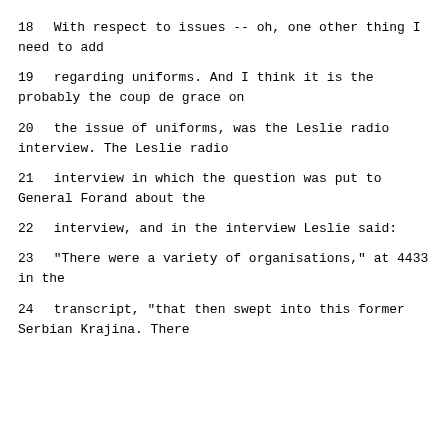18          With respect to issues -- oh, one other thing I need to add
19     regarding uniforms.  And I think it is the probably the coup de grace on
20     the issue of uniforms, was the Leslie radio interview.  The Leslie radio
21     interview in which the question was put to General Forand about the
22     interview, and in the interview Leslie said:
23          "There were a variety of organisations," at 4433 in the
24     transcript, "that then swept into this former Serbian Krajina.  There